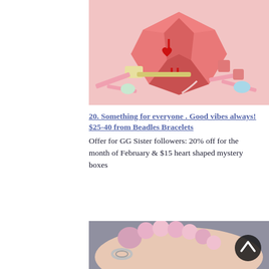[Figure (photo): A pink geometric faceted heart-shaped chocolate box with 'I ♥ U' letters on top, surrounded by a wooden mallet, pink paper shreds, and candy pieces]
20. Something for everyone . Good vibes always! $25-40 from Beadles Bracelets
Offer for GG Sister followers: 20% off for the month of February & $15 heart shaped mystery boxes
[Figure (photo): A wrist wearing a pink beaded bracelet, with a silver ring visible, against a grey background]